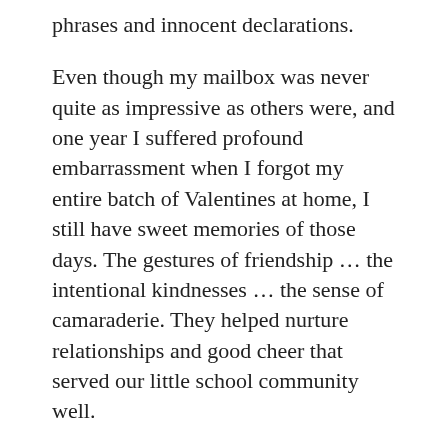phrases and innocent declarations.
Even though my mailbox was never quite as impressive as others were, and one year I suffered profound embarrassment when I forgot my entire batch of Valentines at home, I still have sweet memories of those days. The gestures of friendship … the intentional kindnesses … the sense of camaraderie. They helped nurture relationships and good cheer that served our little school community well.
Many years later, these childhood memories stir in me a surprisingly palpable connection to our Vincentian heritage, specifically to Vincent and Louise's great love for the virtue of charity. Vincent said charity should animate